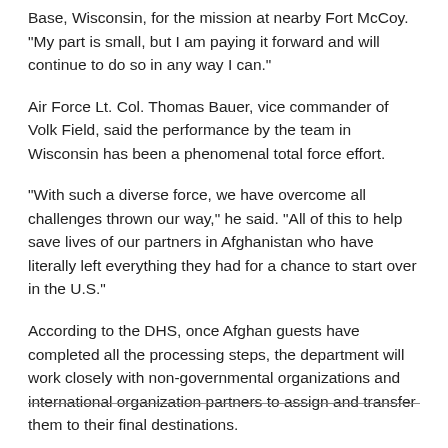Base, Wisconsin, for the mission at nearby Fort McCoy. "My part is small, but I am paying it forward and will continue to do so in any way I can."
Air Force Lt. Col. Thomas Bauer, vice commander of Volk Field, said the performance by the team in Wisconsin has been a phenomenal total force effort.
"With such a diverse force, we have overcome all challenges thrown our way," he said. "All of this to help save lives of our partners in Afghanistan who have literally left everything they had for a chance to start over in the U.S."
According to the DHS, once Afghan guests have completed all the processing steps, the department will work closely with non-governmental organizations and international organization partners to assign and transfer them to their final destinations.